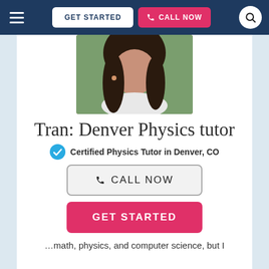GET STARTED | CALL NOW
[Figure (photo): Profile photo of a young woman with long brown hair, wearing a white top, outdoors with greenery in background]
Tran: Denver Physics tutor
Certified Physics Tutor in Denver, CO
CALL NOW
GET STARTED
…math, physics, and computer science, but I